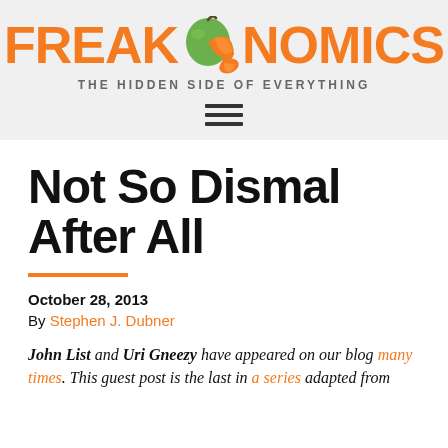FREAKONOMICS — THE HIDDEN SIDE OF EVERYTHING
Not So Dismal After All
October 28, 2013
By Stephen J. Dubner
John List and Uri Gneezy have appeared on our blog many times. This guest post is the last in a series adapted from